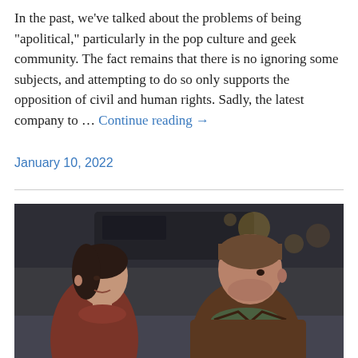In the past, we've talked about the problems of being "apolitical," particularly in the pop culture and geek community. The fact remains that there is no ignoring some subjects, and attempting to do so only supports the opposition of civil and human rights. Sadly, the latest company to … Continue reading →
January 10, 2022
[Figure (photo): Two people facing each other in conversation: a young woman with dark hair pulled back wearing a reddish-brown coat on the left, and a man with short brown hair wearing a brown jacket with a green scarf on the right. Urban background visible.]